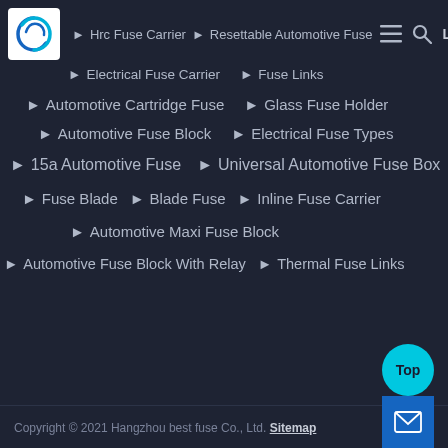Hrc Fuse Carrier ▶ Resettable Automotive Fuse | ☰ 🔍 Language
▶ Electrical Fuse Carrier ▶ Fuse Links
▶ Automotive Cartridge Fuse ▶ Glass Fuse Holder
▶ Automotive Fuse Block ▶ Electrical Fuse Types
▶ 15a Automotive Fuse ▶ Universal Automotive Fuse Box
▶ Fuse Blade ▶ Blade Fuse ▶ Inline Fuse Carrier
▶ Automotive Maxi Fuse Block
▶ Automotive Fuse Block With Relay ▶ Thermal Fuse Links
Copyright © 2021 Hangzhou best fuse Co., Ltd. Sitemap